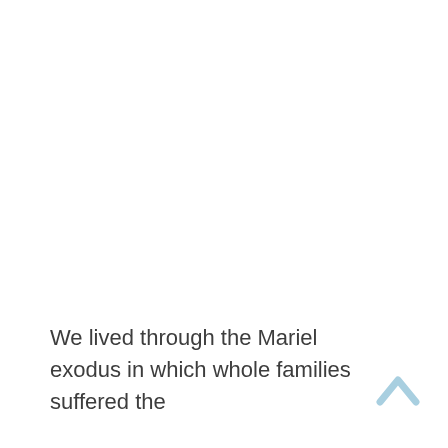We lived through the Mariel exodus in which whole families suffered the